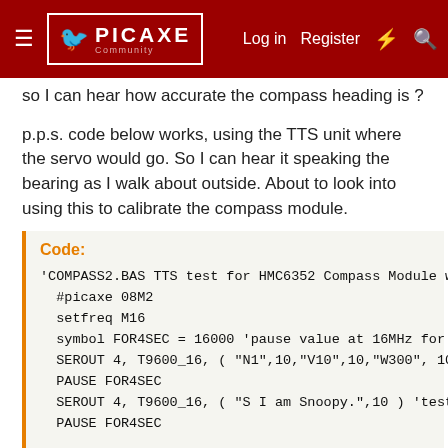PICAXE Community — Log in | Register
so I can hear how accurate the compass heading is ?
p.p.s. code below works, using the TTS unit where the servo would go. So I can hear it speaking the bearing as I walk about outside. About to look into using this to calibrate the compass module.
Code:
'COMPASS2.BAS TTS test for HMC6352 Compass Module wit
  #picaxe 08M2
  setfreq M16
  symbol FOR4SEC = 16000 'pause value at 16MHz for 4 s
  SEROUT 4, T9600_16, ( "N1",10,"V10",10,"W300", 10 )
  PAUSE FOR4SEC
  SEROUT 4, T9600_16, ( "S I am Snoopy.",10 ) 'test TT
  PAUSE FOR4SEC

  HI2CSETUP I2CMASTER, $42, I2CSLOW_16, I2CBYTE
top:
  hi2cout ("A") 'Ask for data